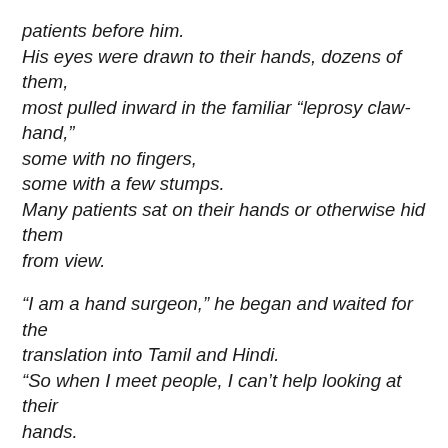patients before him. His eyes were drawn to their hands, dozens of them, most pulled inward in the familiar “leprosy claw-hand,” some with no fingers, some with a few stumps. Many patients sat on their hands or otherwise hid them from view.
“I am a hand surgeon,” he began and waited for the translation into Tamil and Hindi. “So when I meet people, I can’t help looking at their hands. The palmist claims he can tell you your future by looking at your hands. I can tell your past. For instance I can tell what your trade has been by the position of the